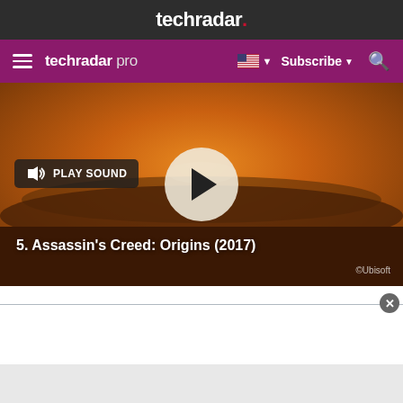techradar.
techradar pro   Subscribe
[Figure (screenshot): Video thumbnail showing a desert sunset scene for Assassin's Creed Origins (2017), with a play button circle in the center and a 'PLAY SOUND' button on the left. Text reads '5. Assassin's Creed: Origins (2017)' and '©Ubisoft' watermark.]